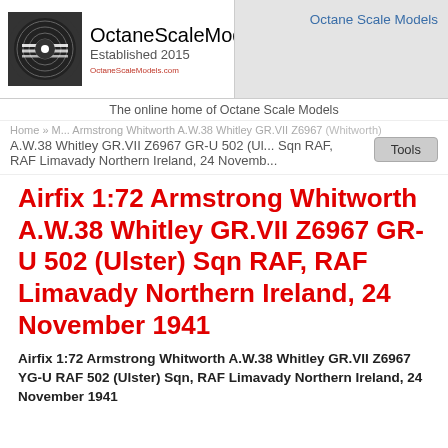[Figure (logo): OctaneScaleModels logo: circular tire tread design in black with white stripes, beside site name 'OctaneScaleModels' and 'Established 2015']
Octane Scale Models
The online home of Octane Scale Models
Home » M... Armstrong Whitworth A.W.38 Whitley GR.VII Z6967 GR-U 502 (Ul... Sqn RAF, RAF Limavady Northern Ireland, 24 Novemb...
Airfix 1:72 Armstrong Whitworth A.W.38 Whitley GR.VII Z6967 GR-U 502 (Ulster) Sqn RAF, RAF Limavady Northern Ireland, 24 November 1941
Airfix 1:72 Armstrong Whitworth A.W.38 Whitley GR.VII Z6967 YG-U RAF 502 (Ulster) Sqn, RAF Limavady Northern Ireland, 24 November 1941